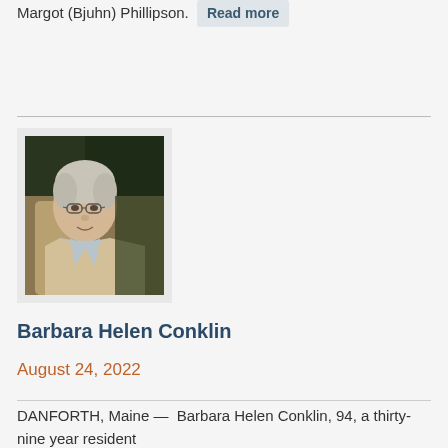Margot (Bjuhn) Phillipson. Read more
[Figure (photo): Portrait photograph of an elderly woman with white/gray hair and glasses, wearing a light-colored blazer, seated outdoors]
Barbara Helen Conklin
August 24, 2022
DANFORTH, Maine — Barbara Helen Conklin, 94, a thirty-nine year resident